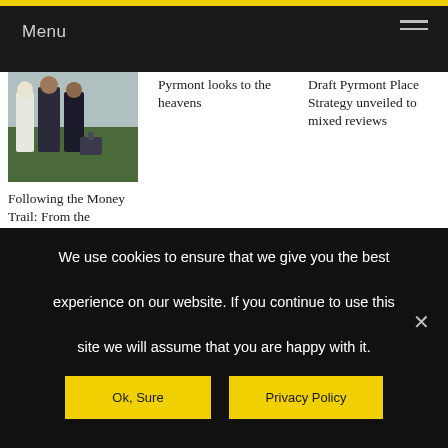Menu
[Figure (photo): People standing on grass with luggage]
Following the Money Trail: From the Powerhouse To P...
Pyrmont looks to the heavens
Draft Pyrmont Place Strategy unveiled to mixed reviews
We use cookies to ensure that we give you the best experience on our website. If you continue to use this site we will assume that you are happy with it.
Ok, Sure
Privacy Policy